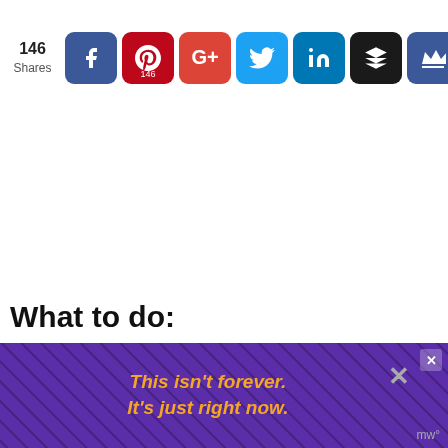[Figure (screenshot): Social sharing bar with share count 146 and icons for Facebook, Pinterest (146), Google+, Twitter, LinkedIn, Buffer, and a crown icon]
What to do:
Separate your materials by weight. We used some glass beads, pony beads and pom poms. My kids made piles for heavy m...
[Figure (screenshot): Advertisement banner: purple background with diagonal lines, orange italic text reading 'This isn't forever. It's just right now.' with close button and MW logo]